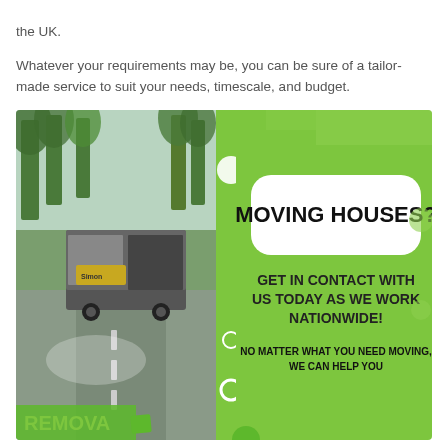the UK.
Whatever your requirements may be, you can be sure of a tailor-made service to suit your needs, timescale, and budget.
[Figure (infographic): An advertisement image split into two halves. Left half shows a photo of a moving truck on a tree-lined street. Right half is a bright green background with white rounded rectangle containing bold black text 'MOVING HOUSES?' and below in green background bold dark text 'GET IN CONTACT WITH US TODAY AS WE WORK NATIONWIDE!' and smaller text 'NO MATTER WHAT YOU NEED MOVING, WE CAN HELP YOU'. Bottom left corner shows partial text 'REMOVAL' in green.]